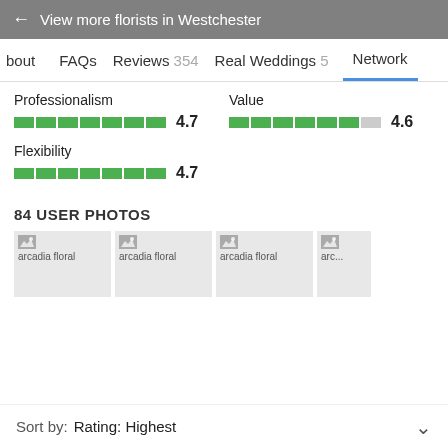← View more florists in Westchester
bout   FAQs   Reviews 354   Real Weddings 5   Network
Professionalism 4.7
Value 4.6
Flexibility 4.7
84 USER PHOTOS
[Figure (photo): Four arcadia floral photo thumbnails in a row]
Sort by: Rating: Highest